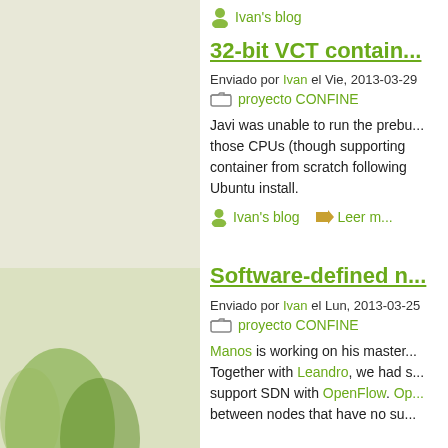Ivan's blog
32-bit VCT contain...
Enviado por Ivan el Vie, 2013-03-29
proyecto CONFINE
Javi was unable to run the prebu... those CPUs (though supporting... container from scratch following... Ubuntu install.
Ivan's blog   Leer m...
Software-defined n...
Enviado por Ivan el Lun, 2013-03-25
proyecto CONFINE
Manos is working on his master... Together with Leandro, we had s... support SDN with OpenFlow. Op... between nodes that have no su...